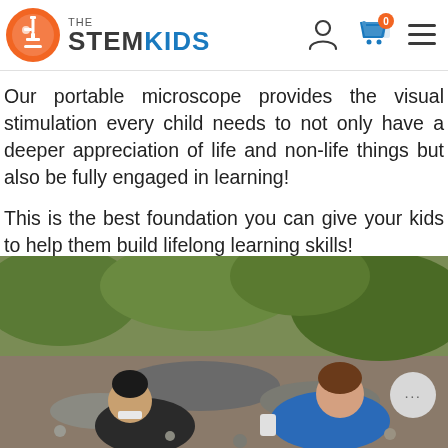THE STEM KIDS
Our portable microscope provides the visual stimulation every child needs to not only have a deeper appreciation of life and non-life things but also be fully engaged in learning!
This is the best foundation you can give your kids to help them build lifelong learning skills!
[Figure (photo): Two children in school uniforms bending down to look closely at rocks and stones on the ground outdoors, using a small microscope or magnifier.]